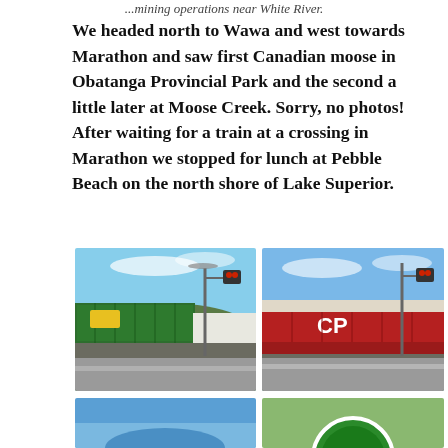...mining operations near White River.
We headed north to Wawa and west towards Marathon and saw first Canadian moose in Obatanga Provincial Park and the second a little later at Moose Creek. Sorry, no photos! After waiting for a train at a crossing in Marathon we stopped for lunch at Pebble Beach on the north shore of Lake Superior.
[Figure (photo): A green shipping container on a freight train at a level crossing in Marathon, with traffic signals visible and hills in the background under a blue sky.]
[Figure (photo): A red CP (Canadian Pacific) shipping container on a freight train at a level crossing in Marathon, with traffic signals visible and hills in the background under a blue sky.]
[Figure (photo): Partial view of a photo at the bottom left, appears to show water or shoreline scene.]
[Figure (photo): Partial view of a photo at the bottom right, appears to show a green circular sign or logo against trees.]